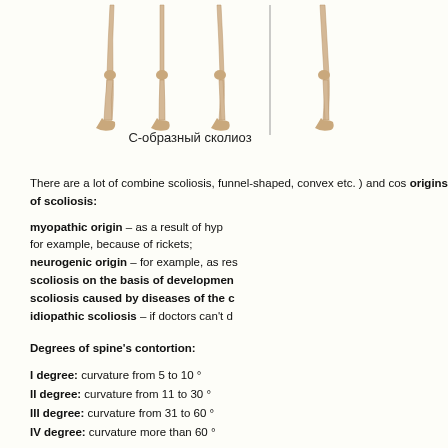[Figure (illustration): Illustrations of leg/spine deformities showing С-образный сколиоз (C-shaped scoliosis) and partial view of another type]
С-образный сколиоз
There are a lot of combine scoliosis, funnel-shaped, convex etc. ) and cos origins of scoliosis:
myopathic origin – as a result of hyp for example, because of rickets; neurogenic origin – for example, as res scoliosis on the basis of developmen scoliosis caused by diseases of the c idiopathic scoliosis – if doctors can't d
Degrees of spine's contortion:
I degree: curvature from 5 to 10 °
II degree: curvature from 11 to 30 °
III degree: curvature from 31 to 60 °
IV degree: curvature more than 60 °